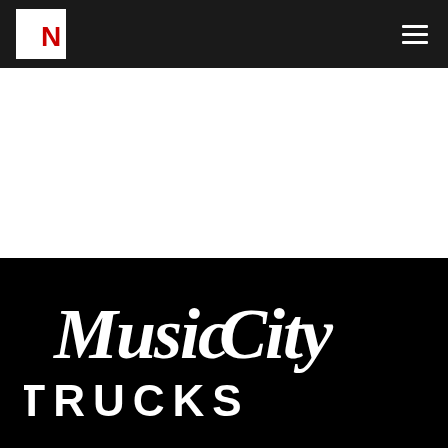PN
[Figure (logo): Music City Trucks logo in white script and bold sans-serif lettering on black background]